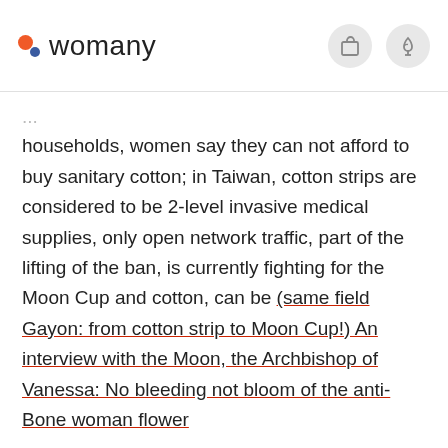womany
households, women say they can not afford to buy sanitary cotton; in Taiwan, cotton strips are considered to be 2-level invasive medical supplies, only open network traffic, part of the lifting of the ban, is currently fighting for the Moon Cup and cotton, can be (same field Gayon: from cotton strip to Moon Cup!) An interview with the Moon, the Archbishop of Vanessa: No bleeding not bloom of the anti-Bone woman flower
In India, Aditi Gupda to draw comics, the introduction of the girls to understand the